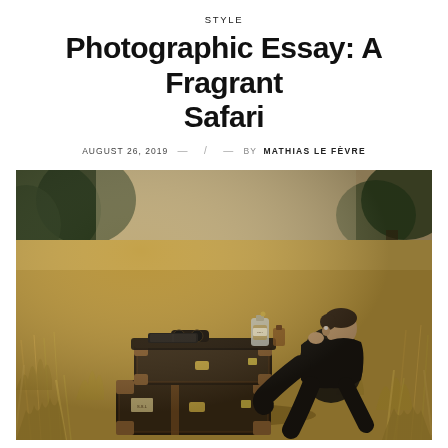STYLE
Photographic Essay: A Fragrant Safari
AUGUST 26, 2019  —  /  —  BY  MATHIAS LE FÈVRE
[Figure (photo): A man in dark clothing sits in a golden grass field next to stacked vintage leather luggage trunks with brass fittings and travel stickers, with a perfume bottle and book on top. Trees visible in the blurred background.]